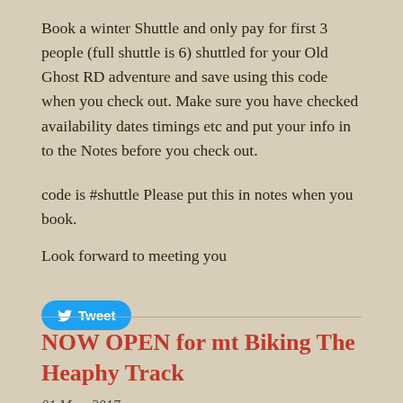Book a winter Shuttle and only pay for first 3 people (full shuttle is 6) shuttled for your Old Ghost RD adventure and save using this code when you check out. Make sure you have checked availability dates timings etc and put your info in to the Notes before you check out.
code is #shuttle Please put this in notes when you book.
Look forward to meeting you
[Figure (other): Tweet button - blue rounded button with Twitter bird icon and 'Tweet' label]
NOW OPEN for mt Biking The Heaphy Track
01 May, 2017